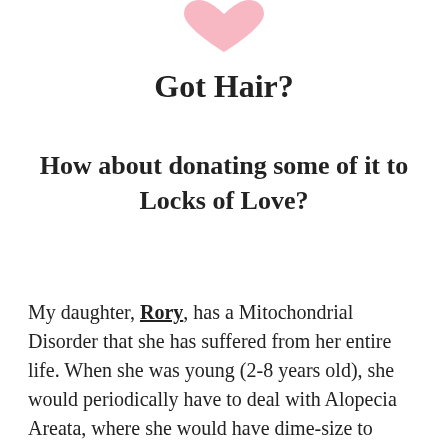[Figure (illustration): Partial pink heart shape visible at the top center of the page]
Got Hair?
How about donating some of it to Locks of Love?
My daughter, Rory, has a Mitochondrial Disorder that she has suffered from her entire life. When she was young (2-8 years old), she would periodically have to deal with Alopecia Areata, where she would have dime-size to silver-dollar-size areas with no hair. Her hair would just